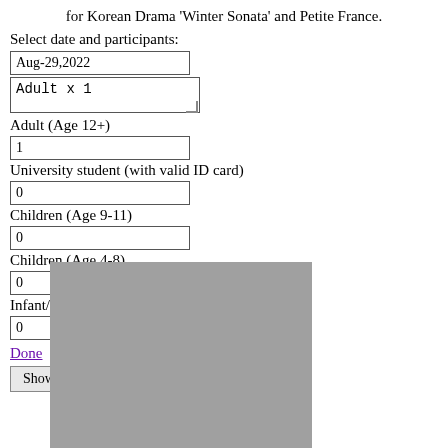for Korean Drama 'Winter Sonata' and Petite France.
Select date and participants:
Aug-29,2022
Adult x 1
Adult (Age 12+)
1
University student (with valid ID card)
0
Children (Age 9-11)
0
Children (Age 4-8)
0
Infant/Baby (Age 0-3)
0
Done
Show availability
[Figure (photo): A grey/placeholder image box below the form]